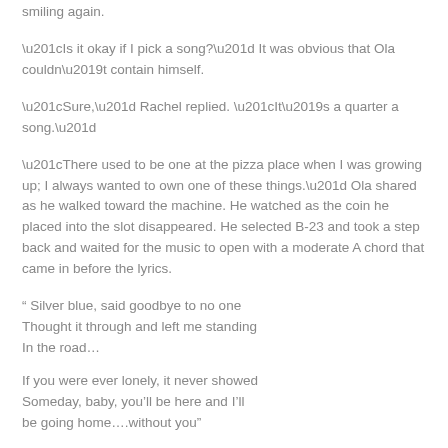smiling again.
“Is it okay if I pick a song?” It was obvious that Ola couldn’t contain himself.
“Sure,” Rachel replied. “It’s a quarter a song.”
“There used to be one at the pizza place when I was growing up; I always wanted to own one of these things.” Ola shared as he walked toward the machine. He watched as the coin he placed into the slot disappeared. He selected B-23 and took a step back and waited for the music to open with a moderate A chord that came in before the lyrics.
“ Silver blue, said goodbye to no one
Thought it through and left me standing
In the road…
If you were ever lonely, it never showed
Someday, baby, you’ll be here and I’ll
be going home….without you”